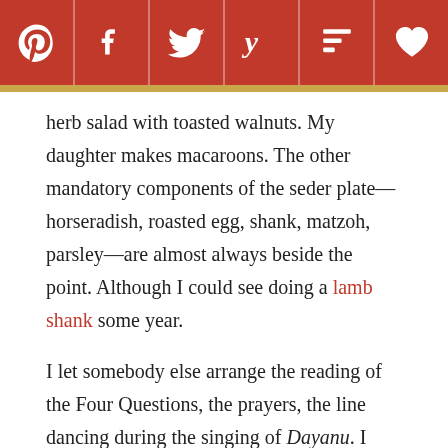[Social sharing toolbar: Pinterest, Facebook, Twitter, Yummly, Flipboard, Fancy]
herb salad with toasted walnuts. My daughter makes macaroons. The other mandatory components of the seder plate—horseradish, roasted egg, shank, matzoh, parsley—are almost always beside the point. Although I could see doing a lamb shank some year.
I let somebody else arrange the reading of the Four Questions, the prayers, the line dancing during the singing of Dayanu. I know where my competencies lie.
LC Something Old, Something New Note: Jonathan Gold has his set Passover menu. And we suspect you have yours. Still, in case you're open to incorporating something new in this year's seder, something that's a little less than traditional yet